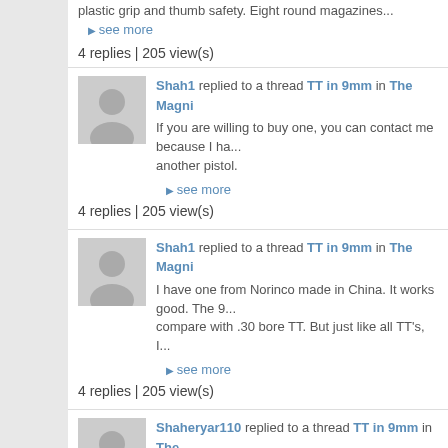plastic grip and thumb safety. Eight round magazines...
▶ see more
4 replies | 205 view(s)
Shah1 replied to a thread TT in 9mm in The Magni...
If you are willing to buy one, you can contact me because I ha... another pistol.
▶ see more
4 replies | 205 view(s)
Shah1 replied to a thread TT in 9mm in The Magni...
I have one from Norinco made in China. It works good. The 9... compare with .30 bore TT. But just like all TT's, I...
▶ see more
4 replies | 205 view(s)
Shaheryar110 replied to a thread TT in 9mm in The Magnificent 9's
If CC is the reason, don't buy any local one.
▶ see more